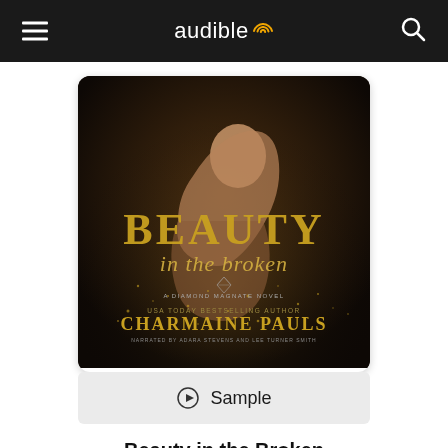audible
[Figure (photo): Audiobook cover for 'Beauty in the Broken – A Diamond Magnate Novel' by Charmaine Pauls. Dark moody cover with a woman posing, gold glitter title text, narrated by Adara Stevens and Lee Turner Smith.]
▶ Sample
Beauty in the Broken
A Diamond Magnate Novel